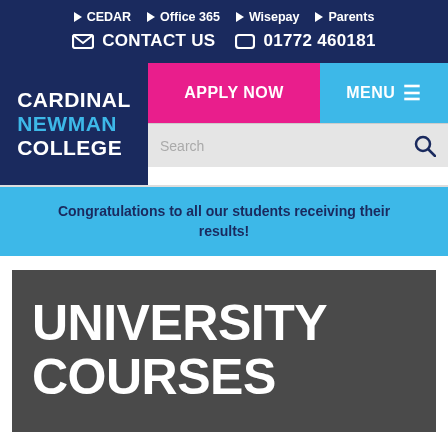▶ CEDAR  ▶ Office 365  ▶ Wisepay  ▶ Parents  ✉ CONTACT US  ☎ 01772 460181
[Figure (logo): Cardinal Newman College logo — white bold text on dark navy background with blue highlight on NEWMAN]
APPLY NOW
MENU ≡
Search
Congratulations to all our students receiving their results!
UNIVERSITY COURSES